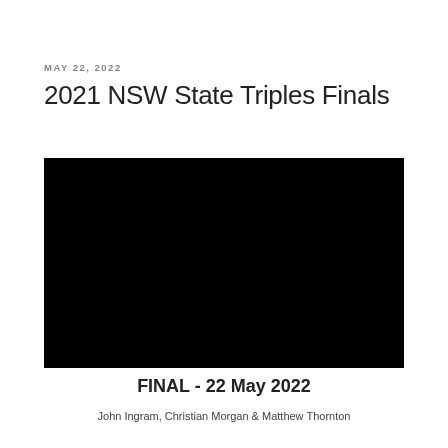MAY 22, 2022
2021 NSW State Triples Finals
[Figure (photo): Black video frame placeholder for the 2021 NSW State Triples Finals final match on 22 May 2022]
FINAL - 22 May 2022
John Ingram, Christian Morgan & Matthew Thornton